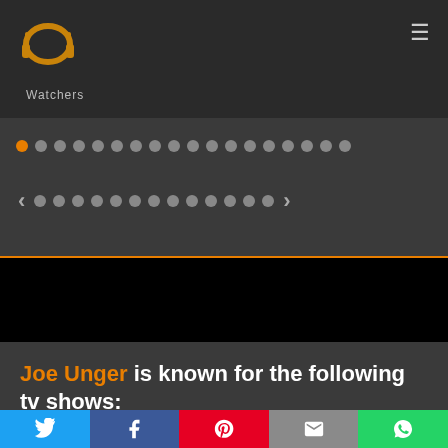[Figure (logo): PP Watchers logo — stylized golden headphones icon with text 'Watchers' below]
[Figure (screenshot): Navigation dot carousel with orange first dot, grey remaining dots, left and right arrows, on dark grey background with orange bottom border]
Joe Unger is known for the following tv shows:
[Figure (screenshot): Filter input box with orange border and placeholder text 'filter']
[Figure (infographic): Social sharing bar with Twitter (blue), Facebook (dark blue), Pinterest (red), Email (grey), WhatsApp (green) buttons]